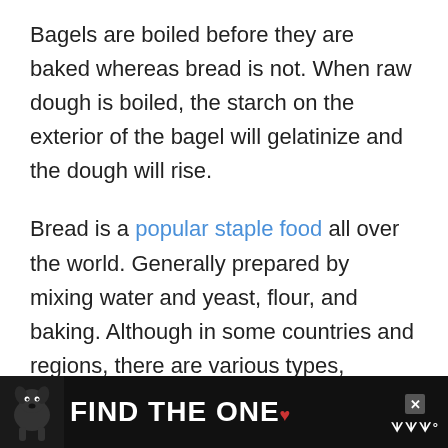Bagels are boiled before they are baked whereas bread is not. When raw dough is boiled, the starch on the exterior of the bagel will gelatinize and the dough will rise.
Bread is a popular staple food all over the world. Generally prepared by mixing water and yeast, flour, and baking. Although in some countries and regions, there are various types, shapes, textures
[Figure (other): Advertisement banner with a dog image and text 'FIND THE ONE' with a heart symbol and close button]